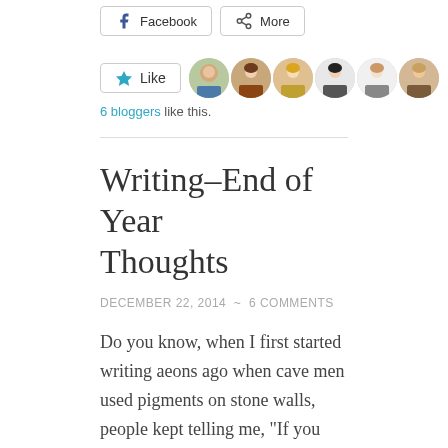[Figure (other): Social share buttons: Facebook and More]
[Figure (other): Like button with 6 blogger avatars]
6 bloggers like this.
Writing–End of Year Thoughts
DECEMBER 22, 2014 ~ 6 COMMENTS
Do you know, when I first started writing aeons ago when cave men used pigments on stone walls, people kept telling me, "If you want to be published, write a good book." Quality, according to them, was your only concern. If your book was